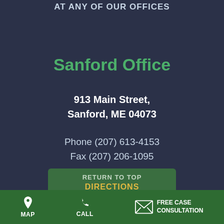AT ANY OF OUR OFFICES
Sanford Office
913 Main Street,
Sanford, ME 04073
Phone (207) 613-4153
Fax (207) 206-1095
RETURN TO TOP
DIRECTIONS
MAP   CALL   FREE CASE CONSULTATION